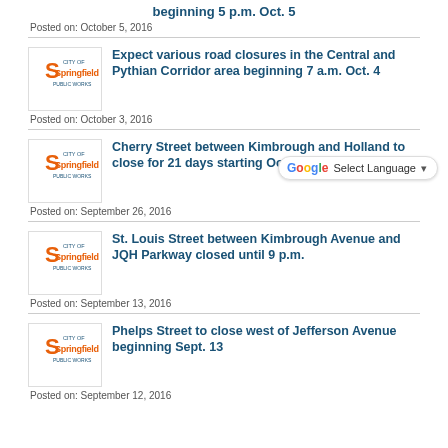beginning 5 p.m. Oct. 5
Posted on: October 5, 2016
Expect various road closures in the Central and Pythian Corridor area beginning 7 a.m. Oct. 4
Posted on: October 3, 2016
Cherry Street between Kimbrough and Holland to close for 21 days starting Oct. 3
Posted on: September 26, 2016
St. Louis Street between Kimbrough Avenue and JQH Parkway closed until 9 p.m.
Posted on: September 13, 2016
Phelps Street to close west of Jefferson Avenue beginning Sept. 13
Posted on: September 12, 2016